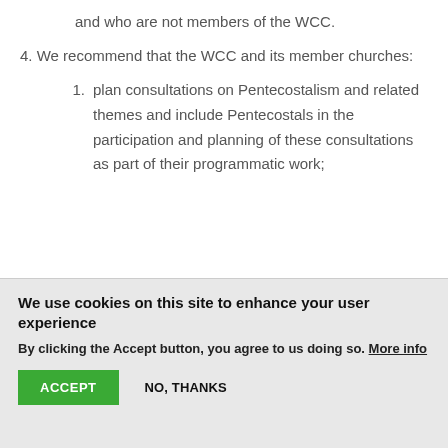churches who are members of the WCC and who are not members of the WCC.
4. We recommend that the WCC and its member churches:
1. plan consultations on Pentecostalism and related themes and include Pentecostals in the participation and planning of these consultations as part of their programmatic work;
We use cookies on this site to enhance your user experience
By clicking the Accept button, you agree to us doing so. More info
ACCEPT   NO, THANKS